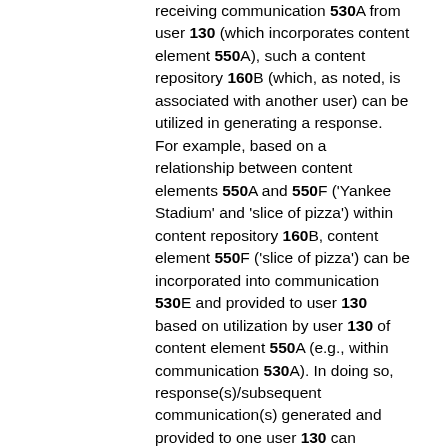receiving communication 530A from user 130 (which incorporates content element 550A), such a content repository 160B (which, as noted, is associated with another user) can be utilized in generating a response. For example, based on a relationship between content elements 550A and 550F ('Yankee Stadium' and 'slice of pizza') within content repository 160B, content element 550F ('slice of pizza') can be incorporated into communication 530E and provided to user 130 based on utilization by user 130 of content element 550A (e.g., within communication 530A). In doing so, response(s)/subsequent communication(s) generated and provided to one user 130 can include/incorporate content elements (e.g., 'slice of pizza') that other user(s) may have utilized in relation to a content element mentioned/referenced by the user (e.g., 'Yankee Stadium'). By leveraging relationships between content elements as reflected in the activity of other user(s), such related content element(s) can be incorporated into subsequent communications directed to user 130. User 130